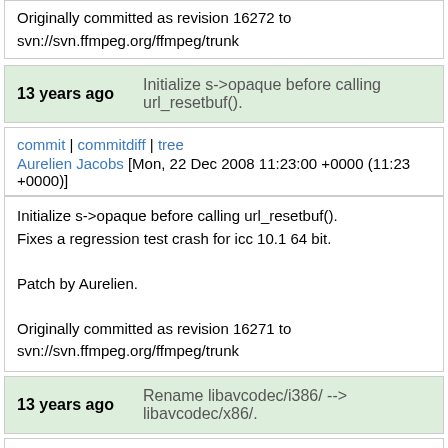Originally committed as revision 16272 to svn://svn.ffmpeg.org/ffmpeg/trunk
13 years ago   Initialize s->opaque before calling url_resetbuf().
commit | commitdiff | tree
Aurelien Jacobs [Mon, 22 Dec 2008 11:23:00 +0000 (11:23 +0000)]
Initialize s->opaque before calling url_resetbuf().
Fixes a regression test crash for icc 10.1 64 bit.

Patch by Aurelien.

Originally committed as revision 16271 to svn://svn.ffmpeg.org/ffmpeg/trunk
13 years ago   Rename libavcodec/i386/ --> libavcodec/x86/.
commit | commitdiff | tree
Diego Biurrun [Mon, 22 Dec 2008 09:12:42 +0000 (09:12 +0000)]
Rename libavcodec/i386/ --> libavcodec/x86/.
It contains optimizations that are not specific to i386 and
libavutil uses this naming scheme already.